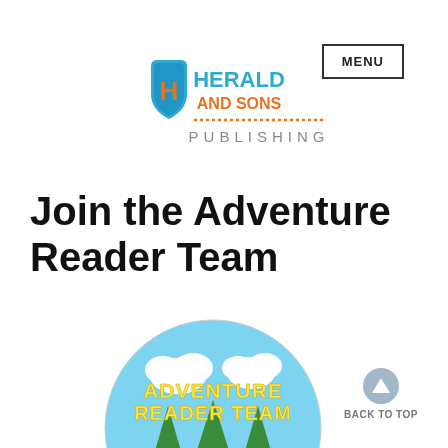MENU
[Figure (logo): Herald and Sons Publishing logo with blue shield containing orange H, orange text HERALD AND SONS, dotted orange line, and gray PUBLISHING text]
Join the Adventure Reader Team
[Figure (illustration): Circular badge with light blue background, green pine trees, two cartoon children reading a teal book, yellow bold text reading ADVENTURE READER TEAM with clouds above]
BACK TO TOP